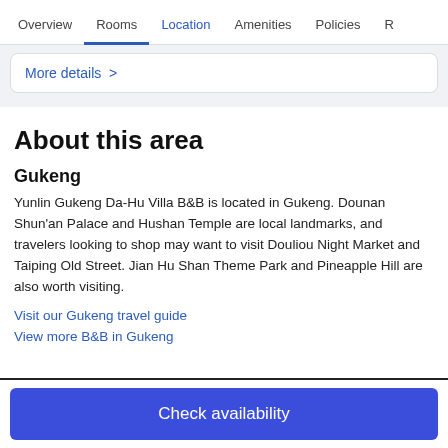Overview  Rooms  Location  Amenities  Policies  R
More details >
About this area
Gukeng
Yunlin Gukeng Da-Hu Villa B&B is located in Gukeng. Dounan Shun'an Palace and Hushan Temple are local landmarks, and travelers looking to shop may want to visit Douliou Night Market and Taiping Old Street. Jian Hu Shan Theme Park and Pineapple Hill are also worth visiting.
Visit our Gukeng travel guide
View more B&B in Gukeng
Check availability